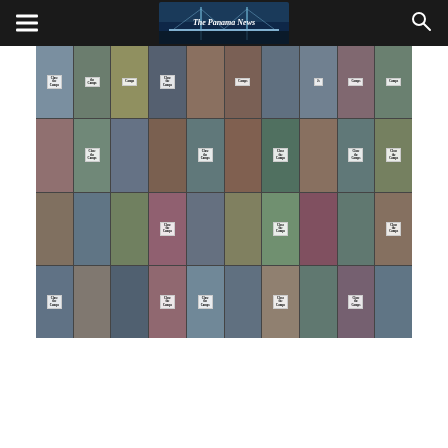The Panama News
[Figure (photo): A collage/grid of photos showing many people holding 'Close the Camps' signs, displayed as a mosaic of thumbnail portraits.]